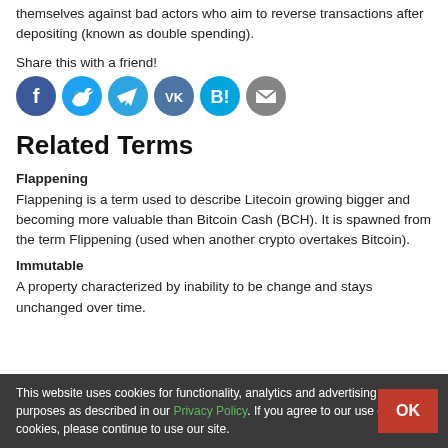themselves against bad actors who aim to reverse transactions after depositing (known as double spending).
Share this with a friend!
[Figure (illustration): Row of social media share icons: Facebook (dark blue), Twitter (light blue), Telegram (blue), VK (steel blue), Hatena Bookmark (teal), Email (gray)]
Related Terms
Flappening
Flappening is a term used to describe Litecoin growing bigger and becoming more valuable than Bitcoin Cash (BCH). It is spawned from the term Flippening (used when another crypto overtakes Bitcoin).
Immutable
A property characterized by inability to be change and stays unchanged over time.
This website uses cookies for functionality, analytics and advertising purposes as described in our Privacy Policy. If you agree to our use of cookies, please continue to use our site.